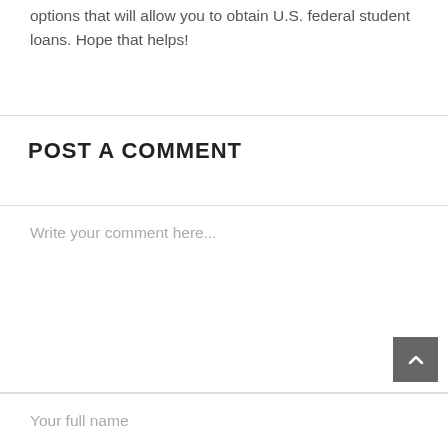options that will allow you to obtain U.S. federal student loans. Hope that helps!
POST A COMMENT
Write your comment here...
Your full name